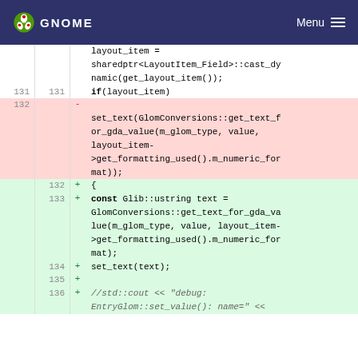GNOME   Menu
Code diff showing changes to layout_item assignment and set_text call, lines 131–136
[Figure (screenshot): Source code diff view showing removed and added lines in a C++ file. Lines 131–136 shown with old (red/removed) and new (green/added) versions.]